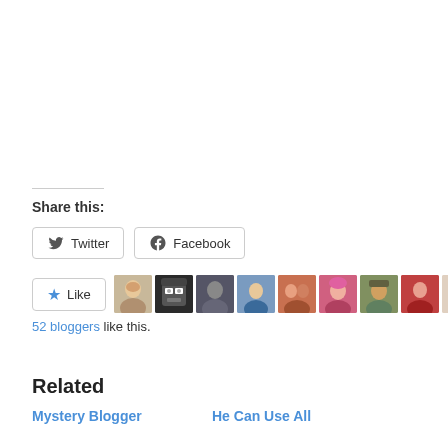Share this:
Twitter  Facebook
Like  52 bloggers like this.
[Figure (photo): Row of blogger avatar thumbnails]
Related
Mystery Blogger
He Can Use All